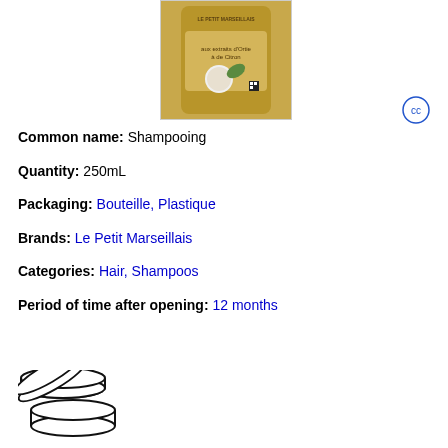[Figure (photo): Product photo of Le Petit Marseillais shampoo bottle in golden/brown packaging with plant imagery]
Common name: Shampooing
Quantity: 250mL
Packaging: Bouteille, Plastique
Brands: Le Petit Marseillais
Categories: Hair, Shampoos
Period of time after opening: 12 months
[Figure (illustration): Open jar icon indicating period after opening]